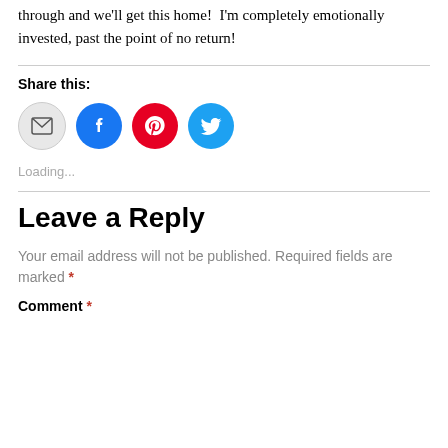through and we'll get this home!  I'm completely emotionally invested, past the point of no return!
Share this:
[Figure (infographic): Four social share icon buttons: email (gray circle), Facebook (blue circle with F), Pinterest (red circle with P), Twitter (light blue circle with bird)]
Loading...
Leave a Reply
Your email address will not be published. Required fields are marked *
Comment *